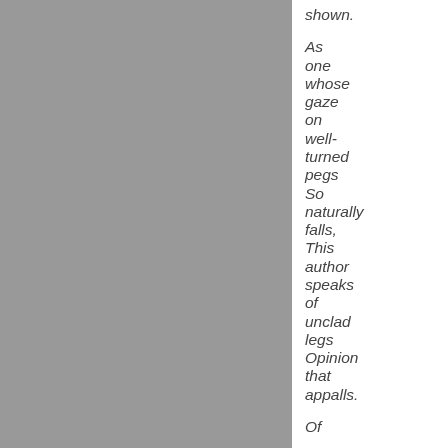[Figure (photo): Gray rectangle occupying the left portion of the page]
shown.

As
one
whose
gaze
on
well-
turned
pegs
So
naturally
falls,
This
author
speaks
of
unclad
legs
Opinion
that
appalls.

Of